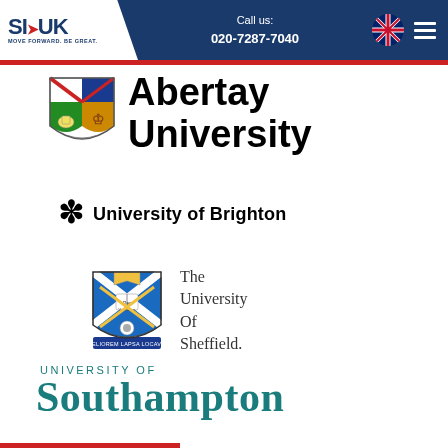SI-UK | Call us: 020-7287-7040
[Figure (logo): Abertay University logo with shield crest and bold text]
[Figure (logo): University of Brighton logo with asterisk/star mark and bold text]
[Figure (logo): The University of Sheffield logo with shield crest and serif text]
[Figure (logo): University of Southampton logo with teal/green-blue text]